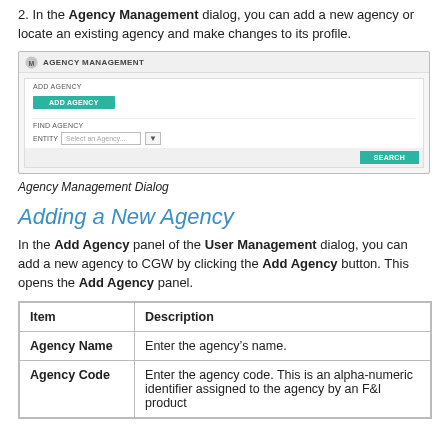2. In the Agency Management dialog, you can add a new agency or locate an existing agency and make changes to its profile.
[Figure (screenshot): Screenshot of the Agency Management dialog showing ADD AGENCY section with a green ADD AGENCY button, and a FIND AGENCY section with an ENTITY dropdown field and a green SEARCH button at the bottom.]
Agency Management Dialog
Adding a New Agency
In the Add Agency panel of the User Management dialog, you can add a new agency to CGW by clicking the Add Agency button. This opens the Add Agency panel.
| Item | Description |
| --- | --- |
| Agency Name | Enter the agency’s name. |
| Agency Code | Enter the agency code. This is an alpha-numeric identifier assigned to the agency by an F&I product... |